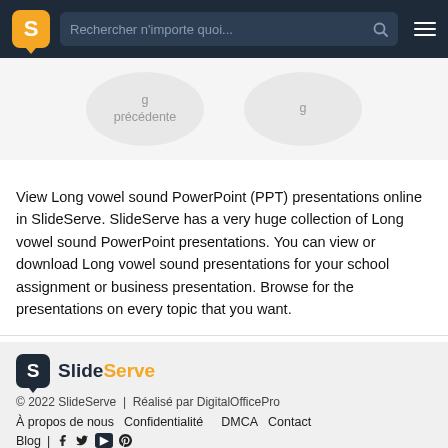Rechercher n'importe quoi...
[Figure (screenshot): Pagination buttons showing 'précédente' (previous page) and a next page button]
View Long vowel sound PowerPoint (PPT) presentations online in SlideServe. SlideServe has a very huge collection of Long vowel sound PowerPoint presentations. You can view or download Long vowel sound presentations for your school assignment or business presentation. Browse for the presentations on every topic that you want.
© 2022 SlideServe | Réalisé par DigitalOfficePro
À propos de nous  Confidentialité  DMCA  Contact
Blog  |  f  Twitter  YouTube  Pinterest